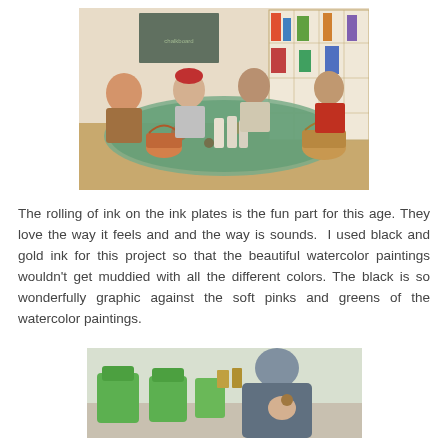[Figure (photo): Children sitting around a table doing an art project with ink plates, baskets, and bottles in a classroom with shelving in the background.]
The rolling of ink on the ink plates is the fun part for this age. They love the way it feels and and the way is sounds.  I used black and gold ink for this project so that the beautiful watercolor paintings wouldn't get muddied with all the different colors. The black is so wonderfully graphic against the soft pinks and greens of the watercolor paintings.
[Figure (photo): A child and an adult in a classroom with green chairs, viewed from behind, with art supplies visible.]